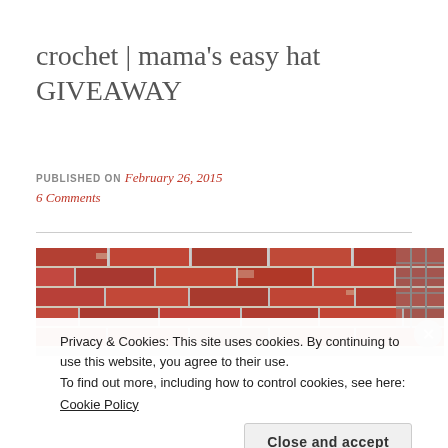crochet | mama's easy hat GIVEAWAY
PUBLISHED ON February 26, 2015
6 Comments
[Figure (photo): Photograph of a red brick wall, showing textured red and orange bricks with mortar joints. The image is cropped to show only the top portion of the wall.]
Privacy & Cookies: This site uses cookies. By continuing to use this website, you agree to their use.
To find out more, including how to control cookies, see here:
Cookie Policy
Close and accept